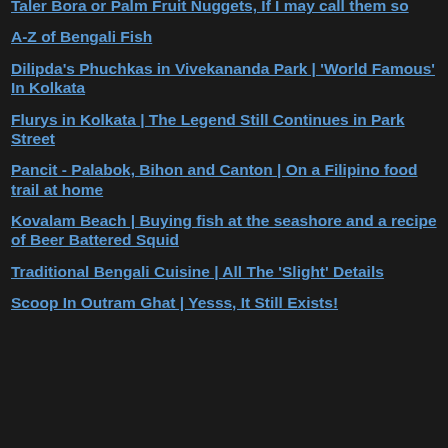Taler Bora or Palm Fruit Nuggets, If I may call them so
A-Z of Bengali Fish
Dilipda's Phuchkas in Vivekananda Park | 'World Famous' In Kolkata
Flurys in Kolkata | The Legend Still Continues in Park Street
Pancit - Palabok, Bihon and Canton | On a Filipino food trail at home
Kovalam Beach | Buying fish at the seashore and a recipe of Beer Battered Squid
Traditional Bengali Cuisine | All The 'Slight' Details
Scoop In Outram Ghat | Yesss, It Still Exists!